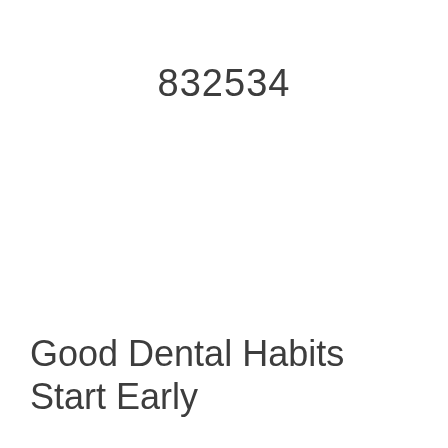832534
Good Dental Habits Start Early